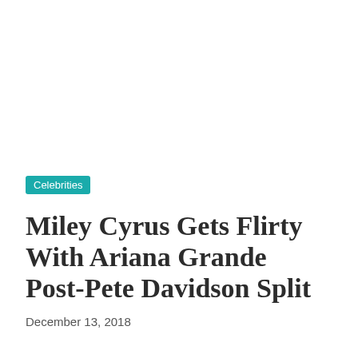Celebrities
Miley Cyrus Gets Flirty With Ariana Grande Post-Pete Davidson Split
December 13, 2018